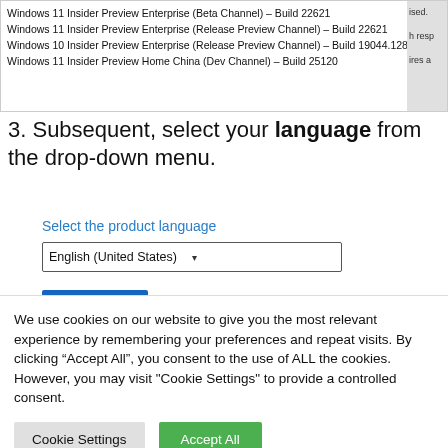[Figure (screenshot): Screenshot of a Windows version selection dropdown list showing Windows 11 and Windows 10 Insider Preview builds including Build 22621 (Release Preview Channel), Build 19044.1288 (Windows 10 Release Preview Channel), and Build 25120 (Windows 11 Insider Preview Home China Dev Channel). Right side partially clipped.]
3. Subsequent, select your language from the drop-down menu.
[Figure (screenshot): UI screenshot showing 'Select the product language' label in blue, a dropdown selector showing 'English (United States)', and a blue 'Confirm' button below.]
4. (partially visible step text)
We use cookies on our website to give you the most relevant experience by remembering your preferences and repeat visits. By clicking “Accept All”, you consent to the use of ALL the cookies. However, you may visit "Cookie Settings" to provide a controlled consent.
Cookie Settings   Accept All